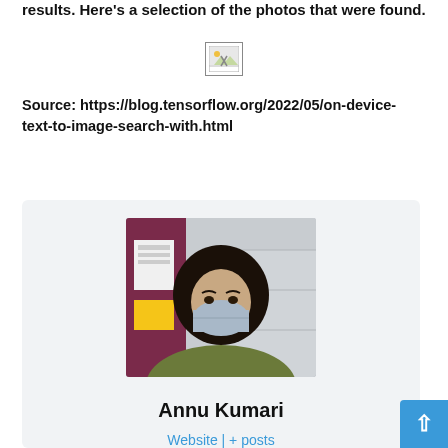results. Here's a selection of the photos that were found.
[Figure (other): Broken/placeholder image icon]
Source: https://blog.tensorflow.org/2022/05/on-device-text-to-image-search-with.html
[Figure (photo): Photo of Annu Kumari, a person wearing a face mask with long curly hair, seated in front of a wall with posters]
Annu Kumari
Website | + posts